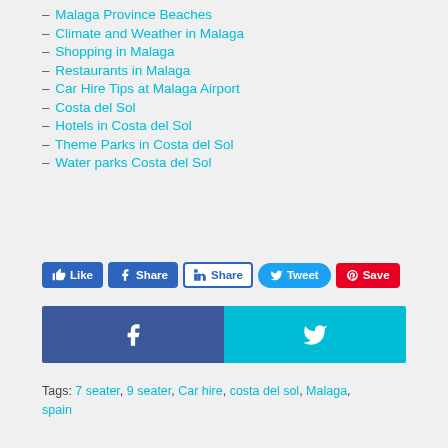– Malaga Province Beaches
– Climate and Weather in Malaga
– Shopping in Malaga
– Restaurants in Malaga
– Car Hire Tips at Malaga Airport
– Costa del Sol
– Hotels in Costa del Sol
– Theme Parks in Costa del Sol
– Water parks Costa del Sol
[Figure (infographic): Social sharing buttons: Like, Share (Facebook), Share (LinkedIn), Tweet, Save (Pinterest), plus large Facebook and Twitter bar buttons]
Tags: 7 seater, 9 seater, Car hire, costa del sol, Malaga, spain